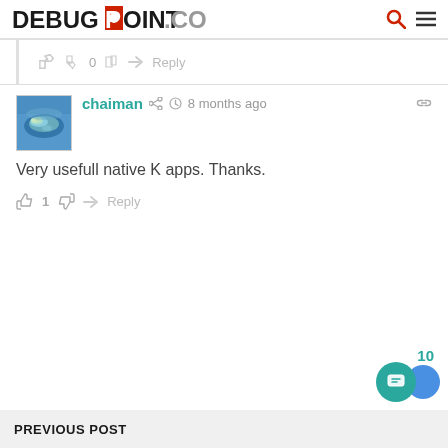DEBUGPOINT.COM
👍 0 👎 → Reply
[Figure (photo): Avatar image of user chaiman — aerial photo of a tropical island/atoll surrounded by blue water]
chaiman 🔗 🕐 8 months ago 🔗
Very usefull native K apps. Thanks.
👍 1 👎 → Reply
10
PREVIOUS POST